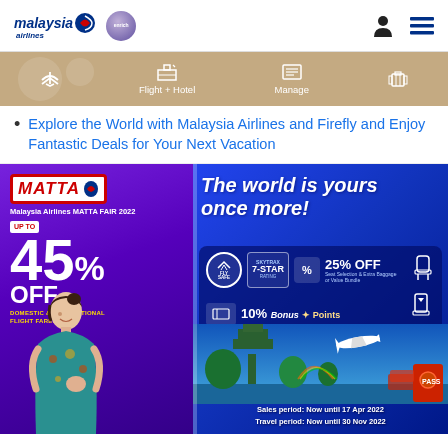malaysia airlines | enrich | user icon | menu icon
[Figure (infographic): Navigation bar with tan/gold background showing icons for Flight + Hotel, Manage, and other options]
Explore the World with Malaysia Airlines and Firefly and Enjoy Fantastic Deals for Your Next Vacation
[Figure (infographic): Malaysia Airlines MATTA Fair 2022 promotional banner. Left side purple background: MATTA logo, 'Malaysia Airlines MATTA FAIR 2022', UP TO 45% OFF DOMESTIC & INTERNATIONAL FLIGHT FARES, with female staff photo. Right side blue background: 'The world is yours once more!' with 7-Star rating badge, FLY SAFE badge, 25% OFF on Seat Selection & Extra Baggage or Value Bundle, 10% BONUS Bonus Points, Win a Business Class Upgrade. Bottom: tropical landscape with airplane. Sales period: Now until 17 Apr 2022, Travel period: Now until 30 Nov 2022]